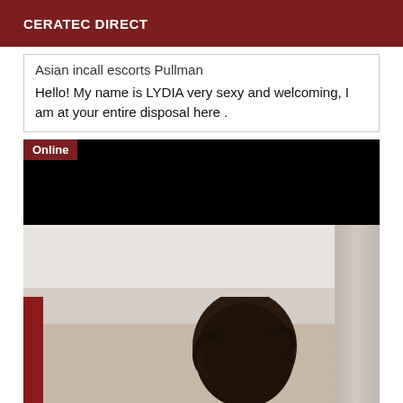CERATEC DIRECT
Asian incall escorts Pullman
Hello! My name is LYDIA very sexy and welcoming, I am at your entire disposal here .
[Figure (photo): Photo of a woman with dark curly hair in a room with white walls and a red stripe on the left wall. An 'Online' badge is shown in the top-left corner of the image block. The upper portion of the image block is blacked out.]